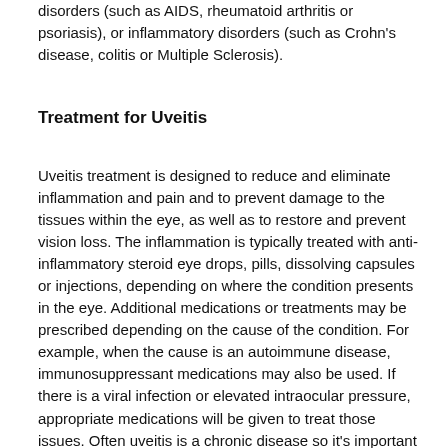disorders (such as AIDS, rheumatoid arthritis or psoriasis), or inflammatory disorders (such as Crohn's disease, colitis or Multiple Sclerosis).
Treatment for Uveitis
Uveitis treatment is designed to reduce and eliminate inflammation and pain and to prevent damage to the tissues within the eye, as well as to restore and prevent vision loss. The inflammation is typically treated with anti-inflammatory steroid eye drops, pills, dissolving capsules or injections, depending on where the condition presents in the eye. Additional medications or treatments may be prescribed depending on the cause of the condition. For example, when the cause is an autoimmune disease, immunosuppressant medications may also be used. If there is a viral infection or elevated intraocular pressure, appropriate medications will be given to treat those issues. Often uveitis is a chronic disease so it's important to see the eye doctor any time the symptoms appear.